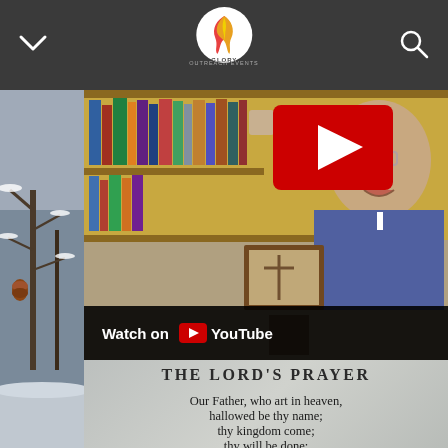Glory [logo] - navigation header
[Figure (screenshot): Video thumbnail showing a priest/clergy person in front of a bookshelf, with a YouTube play button overlay. A 'Watch on YouTube' bar is visible at the bottom of the video.]
THE LORD'S PRAYER
Our Father, who art in heaven,
hallowed be thy name;
thy kingdom come;
thy will be done;
on earth as it is in heaven.
Give us this day our daily bread